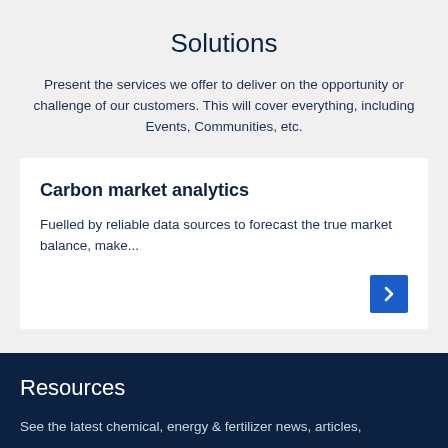Solutions
Present the services we offer to deliver on the opportunity or challenge of our customers. This will cover everything, including Events, Communities, etc.
Carbon market analytics
Fuelled by reliable data sources to forecast the true market balance, make...
Resources
See the latest chemical, energy & fertilizer news, articles,
JUMP TO